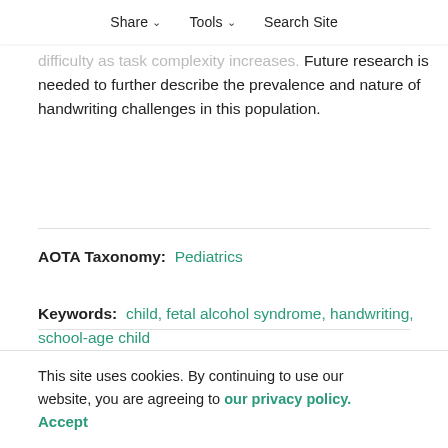Share  Tools  Search Site
handwriting challenges for children with FASD and suggest diminished visuomotor skills and increased difficulty as task complexity increases. Future research is needed to further describe the prevalence and nature of handwriting challenges in this population.
AOTA Taxonomy:  Pediatrics
Keywords:  child, fetal alcohol syndrome, handwriting, school-age child
Copyright © 2013 by the American Occupational Therapy Association, Inc.
This site uses cookies. By continuing to use our website, you are agreeing to our privacy policy. Accept